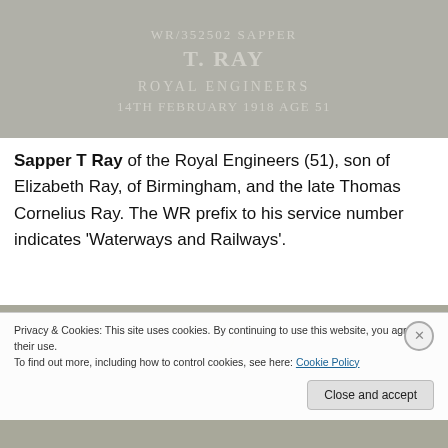[Figure (photo): Close-up photograph of a stone grave marker inscription reading: WR/352502 SAPPER T. RAY ROYAL ENGINEERS 14TH FEBRUARY 1918 AGE 51]
Sapper T Ray of the Royal Engineers (51), son of Elizabeth Ray, of Birmingham, and the late Thomas Cornelius Ray. The WR prefix to his service number indicates 'Waterways and Railways'.
[Figure (photo): Partial photograph of a stone grave marker showing the top portion with a carved emblem/badge]
Privacy & Cookies: This site uses cookies. By continuing to use this website, you agree to their use.
To find out more, including how to control cookies, see here: Cookie Policy
Close and accept